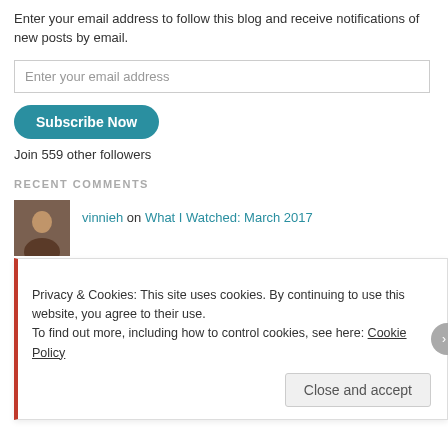Enter your email address to follow this blog and receive notifications of new posts by email.
Enter your email address
Subscribe Now
Join 559 other followers
RECENT COMMENTS
vinnieh on What I Watched: March 2017
ckckred on What I Watched: March 2017
Hunter on What I Watched: March 2017
Privacy & Cookies: This site uses cookies. By continuing to use this website, you agree to their use.
To find out more, including how to control cookies, see here: Cookie Policy
Close and accept